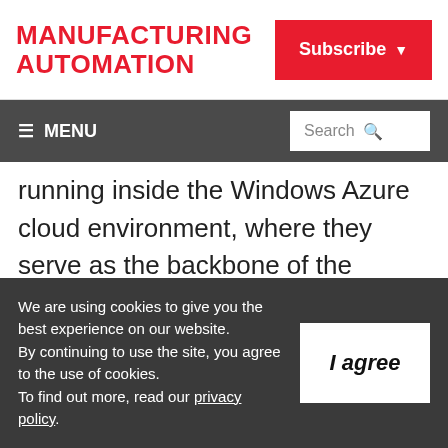MANUFACTURING AUTOMATION
Subscribe
≡ MENU   Search
running inside the Windows Azure cloud environment, where they serve as the backbone of the smartphone apps. IFS customers will be able to “uplink” their IFS Applications installations to IFS Cloud and benefit from the new IFS Touch Apps. This model of deployment via the Windows Azure
We are using cookies to give you the best experience on our website. By continuing to use the site, you agree to the use of cookies. To find out more, read our privacy policy.
I agree